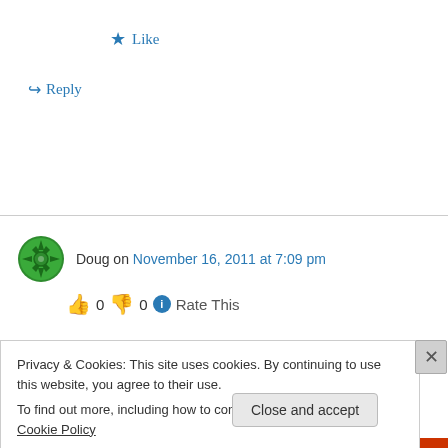★ Like
↳ Reply
Doug on November 16, 2011 at 7:09 pm
👍 0 👎 0 ℹ Rate This
I don't think this is the venue to air your dirty
Privacy & Cookies: This site uses cookies. By continuing to use this website, you agree to their use. To find out more, including how to control cookies, see here: Cookie Policy
Close and accept